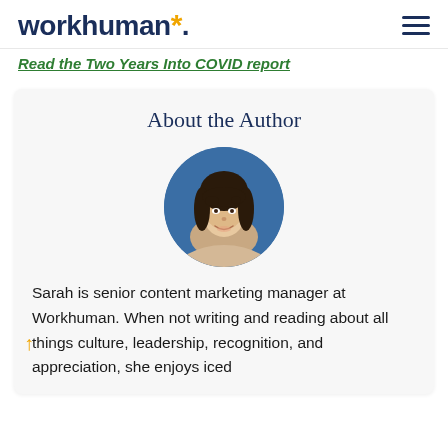workhuman*
Read the Two Years Into COVID report
About the Author
[Figure (photo): Circular headshot of a young woman with dark hair and bangs, smiling, against a blue background.]
Sarah is senior content marketing manager at Workhuman. When not writing and reading about all things culture, leadership, recognition, and appreciation, she enjoys iced